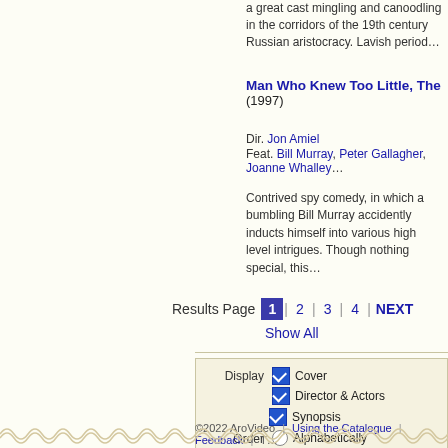a great cast mingling and canoodling in the corridors of the 19th century Russian aristocracy. Lavish period…
Man Who Knew Too Little, The (1997)
Dir. Jon Amiel
Feat. Bill Murray, Peter Gallagher, Joanne Whalley…
Contrived spy comedy, in which a bumbling Bill Murray accidently inducts himself into various high level intrigues. Though nothing special, this…
Results Page  1  2  3  4  NEXT
Show All
Display  Cover  Director & Actors  Synopsis
Order  Alphabetically  Year Released
©2022 AroVideo | Using the Catalogue | Feedback | T…